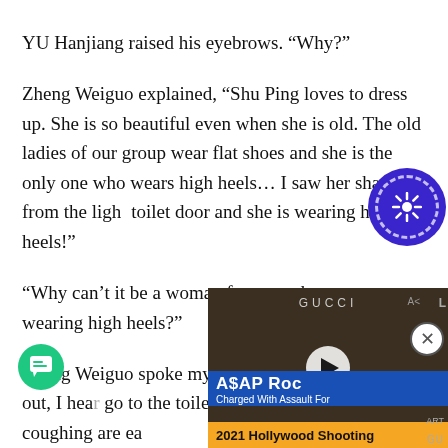YU Hanjiang raised his eyebrows. “Why?”
Zheng Weiguo explained, “Shu Ping loves to dress up. She is so beautiful even when she is old. The old ladies of our group wear flat shoes and she is the only one who wears high heels… I saw her shadow from the light toilet door and she is wearing high heels!”
“Why can’t it be a woman from another room wearing high heels?”
Zheng Weiguo spoke mysterio… long after she came out, I hea… go to the toilet. Sister Mei… breathing and coughing are ea…